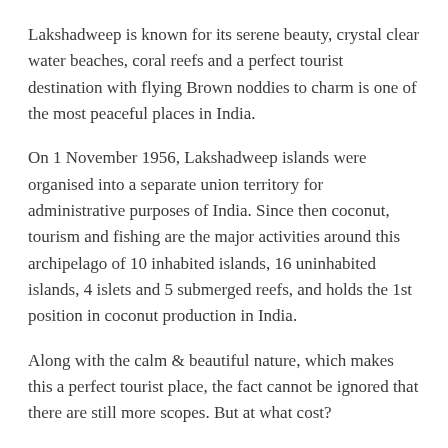Lakshadweep is known for its serene beauty, crystal clear water beaches, coral reefs and a perfect tourist destination with flying Brown noddies to charm is one of the most peaceful places in India.
On 1 November 1956, Lakshadweep islands were organised into a separate union territory for administrative purposes of India. Since then coconut, tourism and fishing are the major activities around this archipelago of 10 inhabited islands, 16 uninhabited islands, 4 islets and 5 submerged reefs, and holds the 1st position in coconut production in India.
Along with the calm & beautiful nature, which makes this a perfect tourist place, the fact cannot be ignored that there are still more scopes. But at what cost?
Well, when we speak about cost, the first thing that comes to mind is the per capita income, where Lakshadweep is slightly higher than the world bank poverty threshold of 1.25 USD/day with a difference of 0.25 USD i.e 18.5 INR/day.
One more key point to note here about Lakshwadeep is only